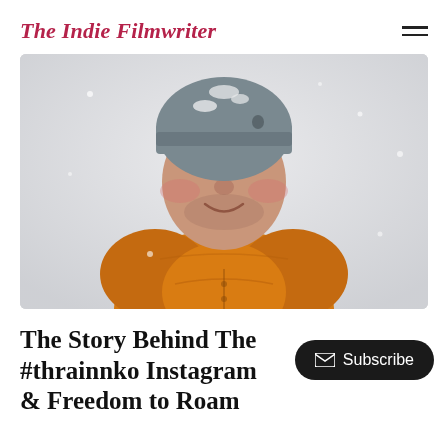The Indie Filmwriter
[Figure (photo): Portrait photograph of a smiling man wearing a gray wool beanie hat and an orange puffer jacket, with snow visible on his hat and jacket, against a light gray/white snowy background.]
The Story Behind The #thrainnko Instagram & Freedom to Roam
Subscribe